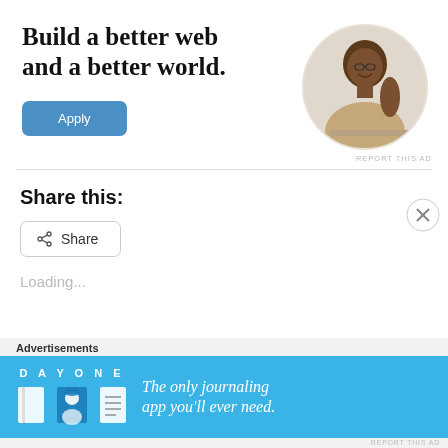[Figure (infographic): Advertisement banner with heading 'Build a better web and a better world.' with an Apply button and a circular photo of a smiling man resting his chin on his hand]
REPORT THIS AD
Share this:
[Figure (other): Share button with share icon]
Loading...
Advertisements
[Figure (infographic): DAY ONE app advertisement: 'The only journaling app you'll ever need.' with app icons on blue background]
REPORT THIS AD